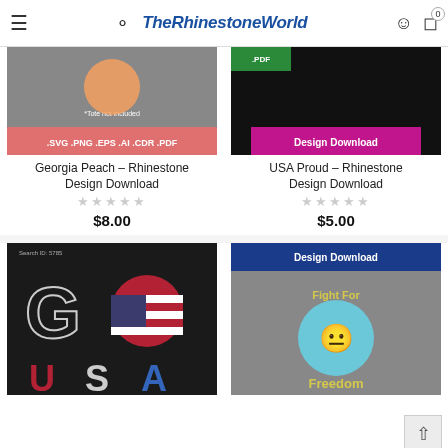TheRhinestoneWorld
[Figure (screenshot): Georgia Peach rhinestone design product thumbnail with SVG PNG EPS AI CDR PDF label]
Georgia Peach – Rhinestone Design Download
★★★★★
$8.00
[Figure (screenshot): USA Proud rhinestone design download product thumbnail with PDF Design Download label]
USA Proud – Rhinestone Design Download
★★★★★
$5.00
[Figure (screenshot): GO USA rhinestone design with American flag circle, red white and blue letters on black background, Search ID 5785]
[Figure (screenshot): Fight For Freedom emoji design download on gray t-shirt with SVG PNG EPS AI CDR PDF label]